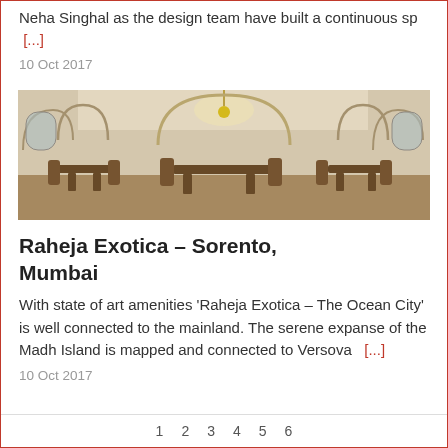Neha Singhal as the design team have built a continuous sp [...]
10 Oct 2017
[Figure (photo): Interior of a grand dining hall with arched ceilings, chandelier lighting, wooden furniture including tables and chairs, and large windows. Classic Colonial or heritage architectural style.]
Raheja Exotica – Sorento, Mumbai
With state of art amenities 'Raheja Exotica – The Ocean City' is well connected to the mainland. The serene expanse of the Madh Island is mapped and connected to Versova  [...]
10 Oct 2017
1  2  3  4  5  6